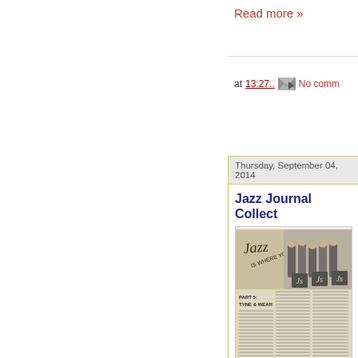Read more »
at 13:27..   No comm
Thursday, September 04, 2014
Jazz Journal Collect
[Figure (photo): Scanned page from Jazz Journal showing article titled 'Jazz is where you find it, Part 5: Tyne & Wear' with a black and white photograph of a jazz band and columns of text.]